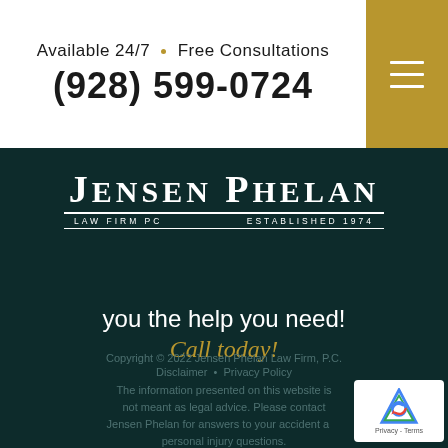Available 24/7 • Free Consultations
(928) 599-0724
[Figure (logo): Jensen Phelan Law Firm PC - Established 1974 logo in white on dark teal background]
you the help you need!
Call today!
Copyright © 2022 Jensen Phelan Law Firm, P.C.
Disclaimer • Privacy Policy
The information presented on this website is not meant as legal advice. Please contact Jensen Phelan for answers to your accident and personal injury questions.